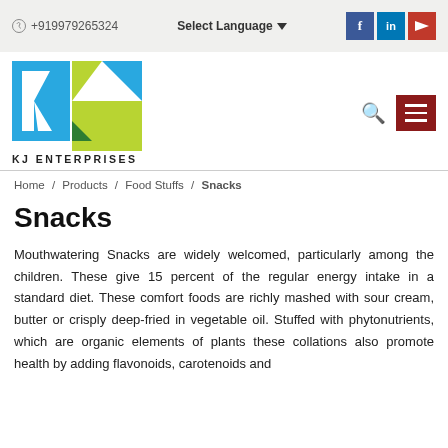+919979265324   Select Language   f  in  ▶
[Figure (logo): KJ Enterprises logo — colorful K and J letters in blue, green, yellow geometric shapes, with text KJ ENTERPRISES below]
Home / Products / Food Stuffs / Snacks
Snacks
Mouthwatering Snacks are widely welcomed, particularly among the children. These give 15 percent of the regular energy intake in a standard diet. These comfort foods are richly mashed with sour cream, butter or crisply deep-fried in vegetable oil. Stuffed with phytonutrients, which are organic elements of plants these collations also promote health by adding flavonoids, carotenoids and